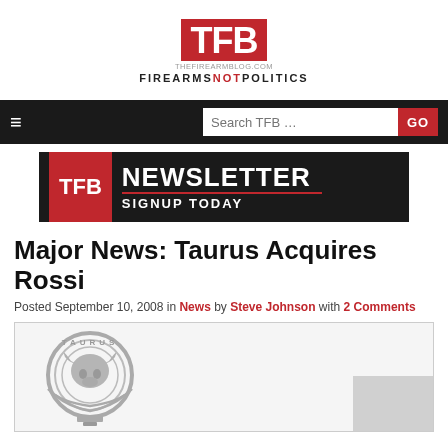TFB - THEFIREARMBLOG.COM - FIREARMS NOT POLITICS
[Figure (screenshot): TFB navigation bar with hamburger menu and search box with GO button]
[Figure (screenshot): TFB Newsletter Signup Today banner advertisement]
Major News: Taurus Acquires Rossi
Posted September 10, 2008 in News by Steve Johnson with 2 Comments
[Figure (logo): Taurus firearms company logo - circular bull head emblem in gray]